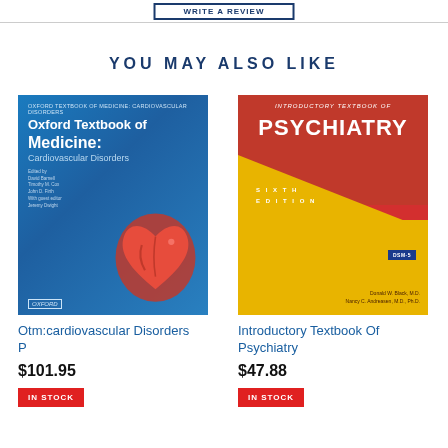WRITE A REVIEW
YOU MAY ALSO LIKE
[Figure (photo): Book cover: Oxford Textbook of Medicine: Cardiovascular Disorders, with blue background and heart image]
Otm:cardiovascular Disorders P
$101.95
IN STOCK
[Figure (photo): Book cover: Introductory Textbook of Psychiatry, Sixth Edition, DSM-5, red and yellow cover]
Introductory Textbook Of Psychiatry
$47.88
IN STOCK